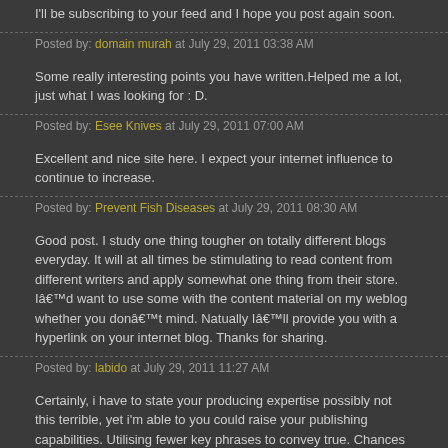I'll be subscribing to your feed and I hope you post again soon.
Posted by: domain murah at July 29, 2011 03:38 AM
Some really interesting points you have written.Helped me a lot, just what I was looking for : D.
Posted by: Esee Knives at July 29, 2011 07:00 AM
Excellent and nice site here. I expect your internet influence to continue to increase.
Posted by: Prevent Fish Diseases at July 29, 2011 08:30 AM
Good post. I study one thing tougher on totally different blogs everyday. It will at all times be stimulating to read content from different writers and apply somewhat one thing from their store. Iâ€™d want to use some with the content material on my weblog whether you donâ€™t mind. Natually Iâ€™ll provide you with a hyperlink on your internet blog. Thanks for sharing.
Posted by: labido at July 29, 2011 11:27 AM
Certainly, i have to state your producing expertise possibly not this terrible, yet i'm able to you could raise your publishing capabilities. Utilising fewer key phrases to convey true. Chances are you'll check out bing with regard to posting expertise